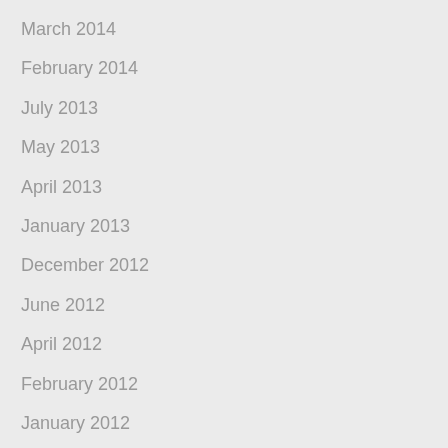March 2014
February 2014
July 2013
May 2013
April 2013
January 2013
December 2012
June 2012
April 2012
February 2012
January 2012
December 2011
October 2011
September 2011
June 2011